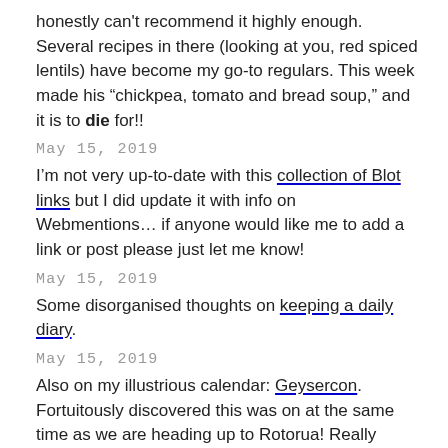honestly can't recommend it highly enough. Several recipes in there (looking at you, red spiced lentils) have become my go-to regulars. This week made his “chickpea, tomato and bread soup,” and it is to die for!!
May 15, 2019
I’m not very up-to-date with this collection of Blot links but I did update it with info on Webmentions… if anyone would like me to add a link or post please just let me know!
May 15, 2019
Some disorganised thoughts on keeping a daily diary.
May 15, 2019
Also on my illustrious calendar: Geysercon. Fortuitously discovered this was on at the same time as we are heading up to Rotorua! Really rather excited :)
May 15, 2019